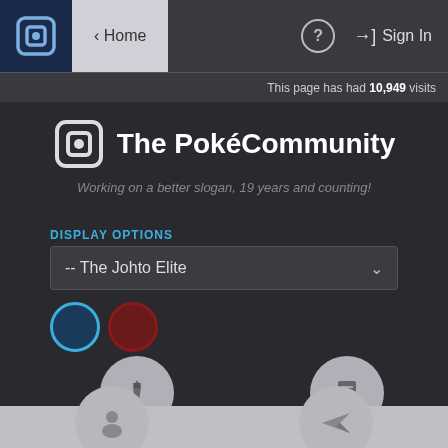[Figure (screenshot): Navigation bar with PokéCommunity logo, Home button, help icon, and Sign In link]
This page has had 10,949 visits
[Figure (logo): The PokéCommunity logo with icon and text]
Working on a better slogan, 19 years and counting!
DISPLAY OPTIONS
-- The Johto Elite
[Figure (other): Two color selector circles: blue (selected) and dark red]
[Figure (other): STAFF icon button with tie icon]
[Figure (other): RULES icon button with document/list icon]
[Figure (other): Partially visible icon buttons at bottom of page]